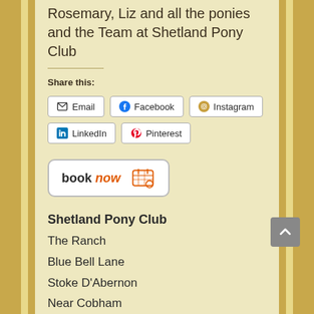Rosemary, Liz and all the ponies and the Team at Shetland Pony Club
Share this:
Email | Facebook | Instagram | LinkedIn | Pinterest
[Figure (other): Book Now button with calendar/grid icon and orange accent text]
Shetland Pony Club
The Ranch
Blue Bell Lane
Stoke D'Abernon
Near Cobham
Surrey